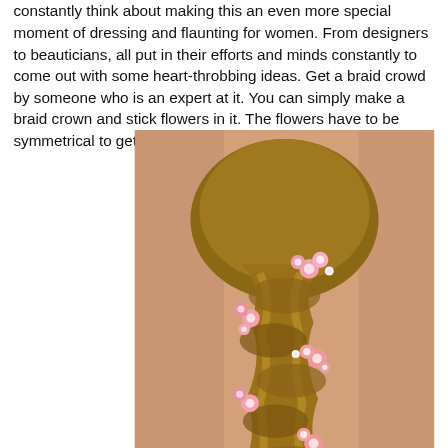constantly think about making this an even more special moment of dressing and flaunting for women. From designers to beauticians, all put in their efforts and minds constantly to come out with some heart-throbbing ideas. Get a braid crowd by someone who is an expert at it. You can simply make a braid crown and stick flowers in it. The flowers have to be symmetrical to get the best look.
[Figure (photo): A woman seen from the back with an elaborate braided hairstyle decorated with small pink and white flowers woven throughout the braid.]
BACK TO TOP
Gajra
Gajras are the style of doing wedding hair with flowers for the longest time and are opted by women regardless of age and choice. They are super stunning and need no convincing. However, you can